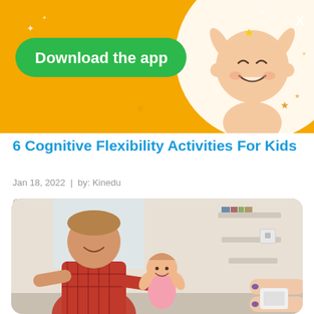[Figure (illustration): Orange banner with 'Download the app' green button, a cartoon smiling baby with arms raised on right side, white circle background behind baby, decorative stars/dots, and X close button in top right corner.]
6 Cognitive Flexibility Activities For Kids
Jan 18, 2022  |  by: Kinedu
Cognitive flexibility activities are an essential part of a child's development and education. Cognitive flexibility is the ability to see …
[Figure (photo): Photo of a smiling man in a red plaid shirt playing with a baby girl in a bright living room, another person's hands reaching in from the right side.]